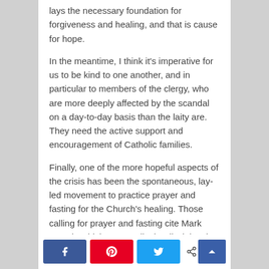lays the necessary foundation for forgiveness and healing, and that is cause for hope.
In the meantime, I think it's imperative for us to be kind to one another, and in particular to members of the clergy, who are more deeply affected by the scandal on a day-to-day basis than the laity are. They need the active support and encouragement of Catholic families.
Finally, one of the more hopeful aspects of the crisis has been the spontaneous, lay-led movement to practice prayer and fasting for the Church's healing. Those calling for prayer and fasting cite Mark 9:29, in which Jesus tells the disciples that some types of demons can only
[Figure (other): Social sharing bar with Facebook, Pinterest, and Twitter buttons, a share count showing 0 SHARES, and a back-to-top arrow button]